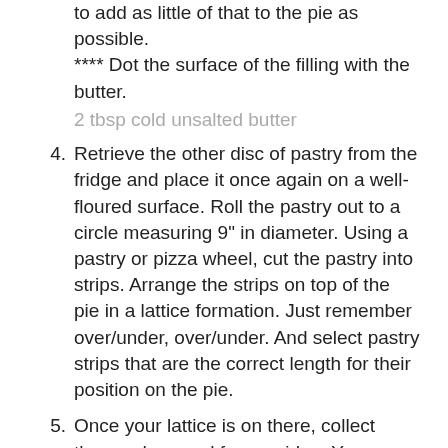to add as little of that to the pie as possible. **** Dot the surface of the filling with the butter.
2 tbsp cold unsalted butter
4. Retrieve the other disc of pastry from the fridge and place it once again on a well-floured surface. Roll the pastry out to a circle measuring 9″ in diameter. Using a pastry or pizza wheel, cut the pastry into strips. Arrange the strips on top of the pie in a lattice formation. Just remember over/under, over/under. And select pastry strips that are the correct length for their position on the pie.
5. Once your lattice is on there, collect those edges and form a ridge. You can borrow some pastry from the meatier edges and use them to flesh out the thinner edges. Then